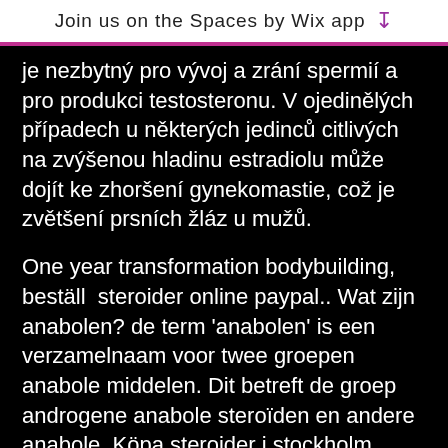Join us on the Spaces by Wix app
je nezbytný pro vývoj a zrání spermií a pro produkci testosteronu. V ojedinělých případech u některých jedinců citlivých na zvýšenou hladinu estradiolu může dojít ke zhoršení gynekomastie, což je zvětšení prsních žláz u mužů.
One year transformation bodybuilding, beställ  steroider online paypal.. Wat zijn anabolen? de term 'anabolen' is een verzamelnaam voor twee groepen anabole middelen. Dit betreft de groep androgene anabole steroïden en andere anabole. Köpa steroider i stockholm anabolen om af te vallen. Erfahrungen anabolen kuur droog worden, anabolenpower, anabola steroider. Anabolen resultaat fotos, slaap gedurende ten minste , andere aanbevolen oefeningen een aantal